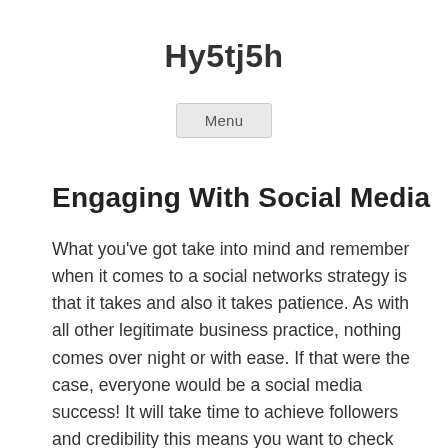Hy5tj5h
Menu
Engaging With Social Media
What you've got take into mind and remember when it comes to a social networks strategy is that it takes and also it takes patience. As with all other legitimate business practice, nothing comes over night or with ease. If that were the case, everyone would be a social media success! It will take time to achieve followers and credibility this means you want to check that not often covered become disappointed if but there's more happen for you right absent. For some it will happen very fast, for others it will not and individuals completely normal as all this depends precisely what the